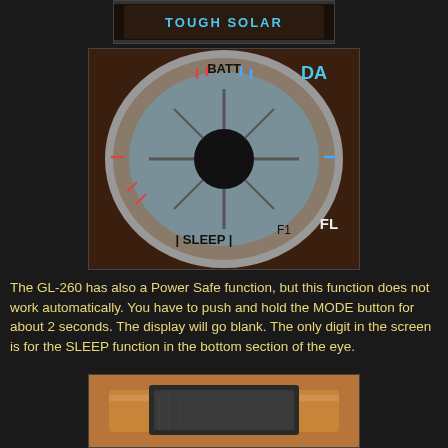[Figure (photo): Close-up photo of a Casio watch showing 'TOUGH SOLAR' text on the bezel]
[Figure (photo): Close-up photo of a Casio watch dial/eye showing BATT, SLEEP, FL, and DA labels around a circular indicator with red and blue tick marks]
The GL-260 has also a Power Safe function, but this function does not work automatically. You have to push and hold the MODE button for about 2 seconds. The display will go blank. The only digit in the screen is for the SLEEP function in the bottom section of the eye.
[Figure (photo): Photo showing the side/band area of a Casio watch with orange/gold colored case]